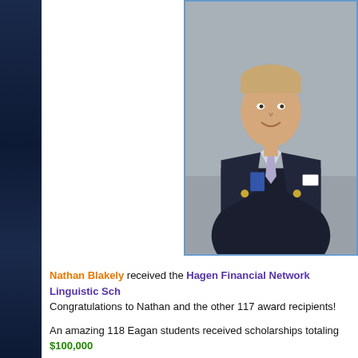[Figure (photo): Professional headshot of Nathan Blakely, a man in a dark navy blazer with gold buttons, light blue dress shirt, and light purple tie, smiling, against a gray background, holding a certificate or folder.]
Nathan Blakely received the Hagen Financial Network Linguistic Sch... Congratulations to Nathan and the other 117 award recipients!
An amazing 118 Eagan students received scholarships totaling $100,000... 1991, the Eagan Foundation awarded students with just under $1,000,0...